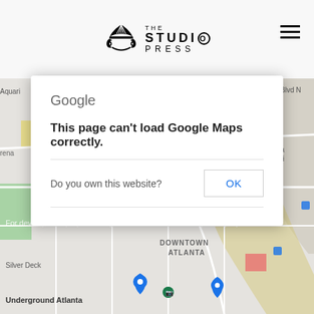THE STUDIO PRESS (logo with hamburger menu)
[Figure (map): Google Maps screenshot of Downtown Atlanta area showing streets, landmarks including Underground Atlanta, Silver Deck, with 'For development purposes only' watermark overlaid]
Google
This page can't load Google Maps correctly.
Do you own this website?
OK